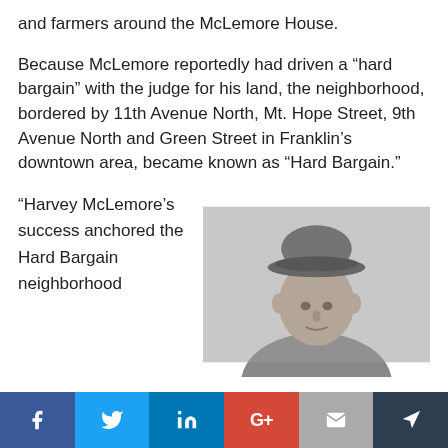and farmers around the McLemore House.
Because McLemore reportedly had driven a “hard bargain” with the judge for his land, the neighborhood, bordered by 11th Avenue North, Mt. Hope Street, 9th Avenue North and Green Street in Franklin’s downtown area, became known as “Hard Bargain.”
“Harvey McLemore’s success anchored the Hard Bargain neighborhood
[Figure (photo): Black and white historical portrait photograph of a man wearing a hat, likely Harvey McLemore.]
Facebook | Twitter | LinkedIn | Google+ | Email | Share